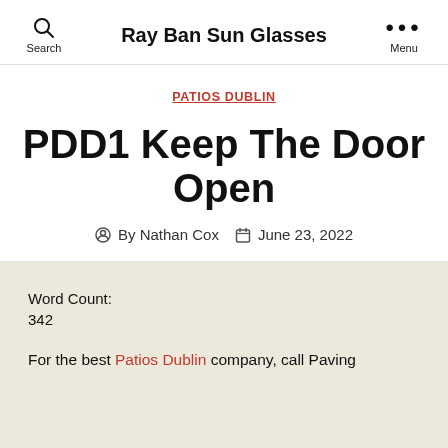Ray Ban Sun Glasses
PATIOS DUBLIN
PDD1 Keep The Door Open
By Nathan Cox   June 23, 2022
Word Count:
342
For the best Patios Dublin company, call Paving